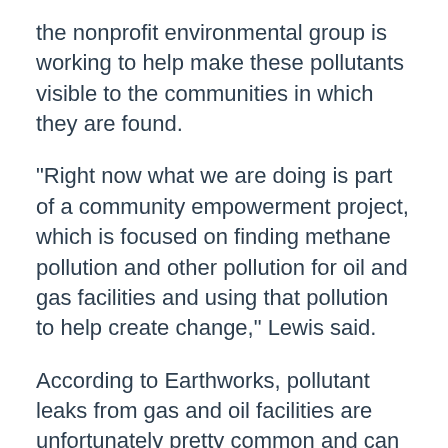the nonprofit environmental group is working to help make these pollutants visible to the communities in which they are found.
"Right now what we are doing is part of a community empowerment project, which is focused on finding methane pollution and other pollution for oil and gas facilities and using that pollution to help create change," Lewis said.
According to Earthworks, pollutant leaks from gas and oil facilities are unfortunately pretty common and can include carcinogens like benzene.
"When we see these videos, we don't know exactly what is in the video," Lewis said.